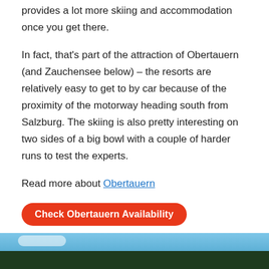provides a lot more skiing and accommodation once you get there.
In fact, that's part of the attraction of Obertauern (and Zauchensee below) – the resorts are relatively easy to get to by car because of the proximity of the motorway heading south from Salzburg. The skiing is also pretty interesting on two sides of a big bowl with a couple of harder runs to test the experts.
Read more about Obertauern
Check Obertauern Availability
Zauchensee
[Figure (photo): A photograph of Zauchensee ski resort showing snow-covered mountain slopes with conifer trees and blue sky with clouds.]